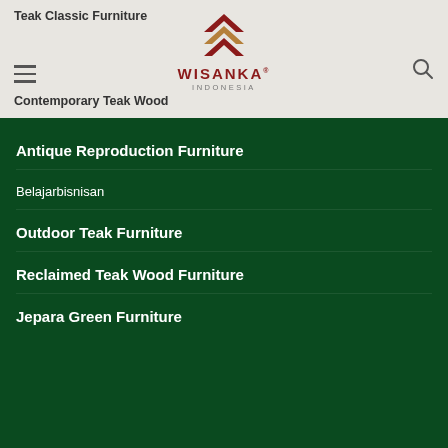Teak Classic Furniture
[Figure (logo): Wisanka Indonesia logo with chevron pattern in dark red/brown and the text WISANKA INDONESIA]
Contemporary Teak Wood
Antique Reproduction Furniture
Belajarbisnisan
Outdoor Teak Furniture
Reclaimed Teak Wood Furniture
Jepara Green Furniture